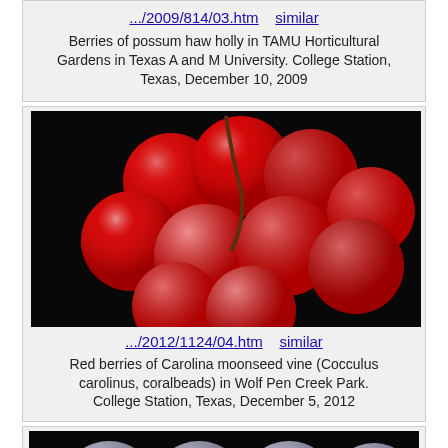.../2009/814/03.htm    similar
Berries of possum haw holly in TAMU Horticultural Gardens in Texas A and M University. College Station, Texas, December 10, 2009
[Figure (photo): Close-up photo of red berries of Carolina moonseed vine (Cocculus carolinus, coralbeads) clustered together on black background]
.../2012/1124/04.htm    similar
Red berries of Carolina moonseed vine (Cocculus carolinus, coralbeads) in Wolf Pen Creek Park. College Station, Texas, December 5, 2012
[Figure (photo): Close-up photo of grey/blue-grey berries on black background, partially visible at bottom of page]